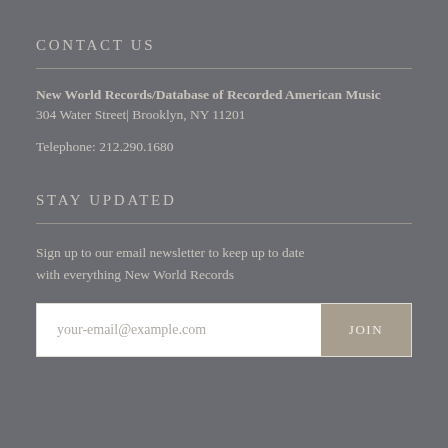CONTACT US
New World Records/Database of Recorded American Music
304 Water Street| Brooklyn, NY 11201

Telephone: 212.290.1680
STAY UPDATED
Sign up to our email newsletter to keep up to date with everything New World Records
your-email@example.com  JOIN